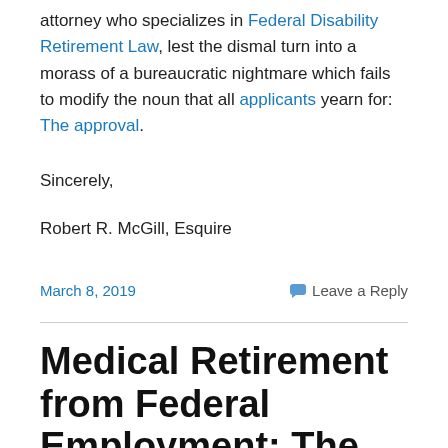attorney who specializes in Federal Disability Retirement Law, lest the dismal turn into a morass of a bureaucratic nightmare which fails to modify the noun that all applicants yearn for: The approval.
Sincerely,
Robert R. McGill, Esquire
March 8, 2019
Leave a Reply
Medical Retirement from Federal Employment: The narrative we write